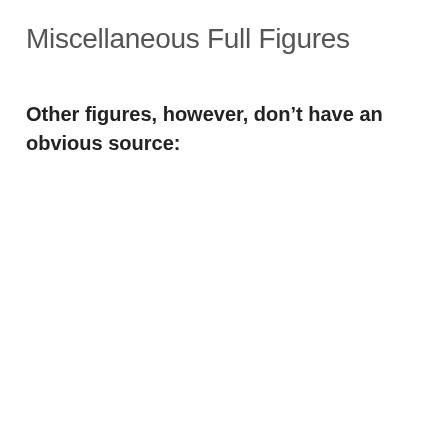Miscellaneous Full Figures
Other figures, however, don’t have an obvious source: